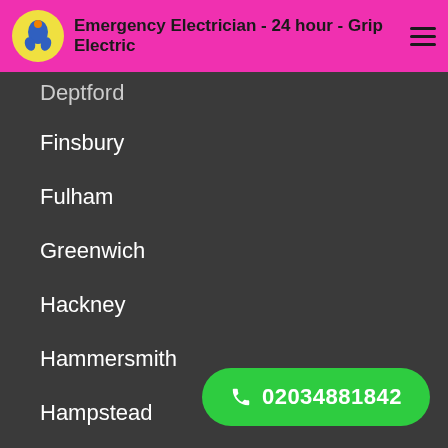Emergency Electrician - 24 hour - Grip Electric
Deptford
Finsbury
Fulham
Greenwich
Hackney
Hammersmith
Hampstead
FAQ
Acton
Addlestone
Aldershot
Alton
Ashford
02034881842